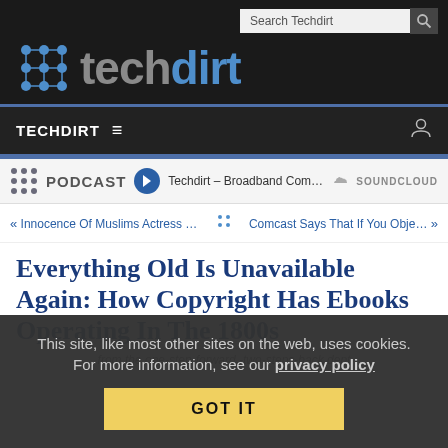techdirt
TECHDIRT ≡
PODCAST  Techdirt – Broadband Comp...  SOUNDCLOUD
« Innocence Of Muslims Actress ...   Comcast Says That If You Obje... »
Everything Old Is Unavailable Again: How Copyright Has Ebooks Operating In The 1800s
from the one-step-forward,-two-steps-back dept
This site, like most other sites on the web, uses cookies. For more information, see our privacy policy
GOT IT